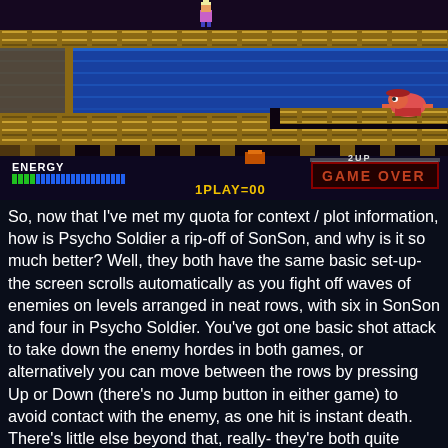[Figure (screenshot): Screenshot from the arcade game Psycho Soldier showing a side-scrolling platformer level with water, platforms, and a Game Over screen displaying '2UP GAME OVER' and '1PLAY=00' with an ENERGY bar at the bottom left.]
So, now that I've met my quota for context / plot information, how is Psycho Soldier a rip-off of SonSon, and why is it so much better? Well, they both have the same basic set-up- the screen scrolls automatically as you fight off waves of enemies on levels arranged in neat rows, with six in SonSon and four in Psycho Soldier. You've got one basic shot attack to take down the enemy hordes in both games, or alternatively you can move between the rows by pressing Up or Down (there's no Jump button in either game) to avoid contact with the enemy, as one hit is instant death. There's little else beyond that, really- they're both quite basic games at their heart, but while SonSon is a game that has not aged with particular grace or style, Psycho Soldier fares a hell of a lot better. This is because it takes SonSon and adds more things, and, well, they actually work.